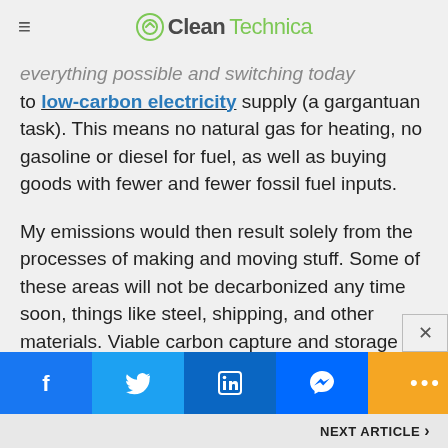CleanTechnica
everything possible and switching today to low-carbon electricity supply (a gargantuan task). This means no natural gas for heating, no gasoline or diesel for fuel, as well as buying goods with fewer and fewer fossil fuel inputs.
My emissions would then result solely from the processes of making and moving stuff. Some of these areas will not be decarbonized any time soon, things like steel, shipping, and other materials. Viable carbon capture and storage would help a lot in improving industrial emissions. Flying will remain a
Facebook | Twitter | LinkedIn | Messenger | More | NEXT ARTICLE